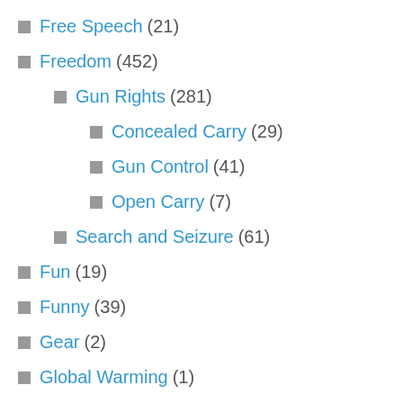Free Speech (21)
Freedom (452)
Gun Rights (281)
Concealed Carry (29)
Gun Control (41)
Open Carry (7)
Search and Seizure (61)
Fun (19)
Funny (39)
Gear (2)
Global Warming (1)
Government (165)
Gun Culture (30)